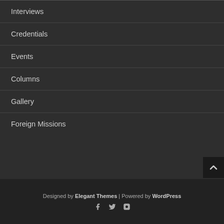Interviews
Credentials
Events
Columns
Gallery
Foreign Missions
Designed by Elegant Themes | Powered by WordPress